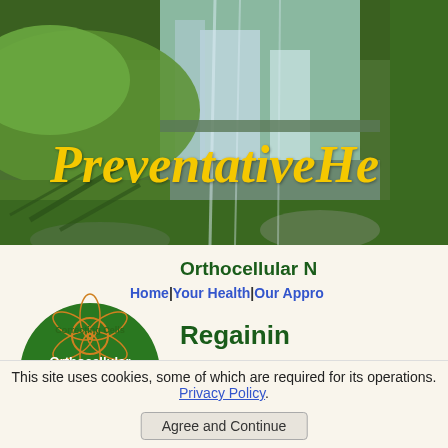[Figure (photo): Hero banner showing a lush green waterfall scene with moss-covered rocks and large green leaves, with the partial text 'PreventativeHe' in yellow italic bold font overlaid on the image]
Orthocellular N
Home|Your Health|Our Appr
[Figure (logo): Green semicircle logo with orange flower/cell design reading 'Correcting Cells' and 'Orthocellular' text]
Regainin
This site uses cookies, some of which are required for its operations. Privacy Policy.
Agree and Continue